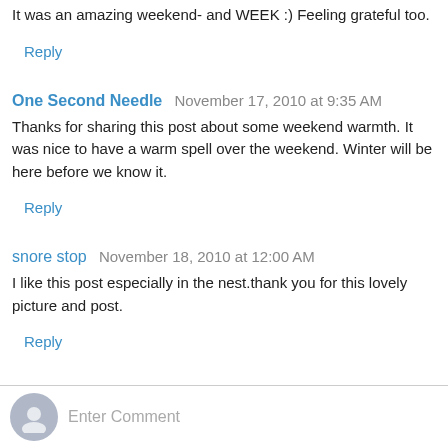It was an amazing weekend- and WEEK :) Feeling grateful too.
Reply
One Second Needle  November 17, 2010 at 9:35 AM
Thanks for sharing this post about some weekend warmth. It was nice to have a warm spell over the weekend. Winter will be here before we know it.
Reply
snore stop  November 18, 2010 at 12:00 AM
I like this post especially in the nest.thank you for this lovely picture and post.
Reply
Enter Comment